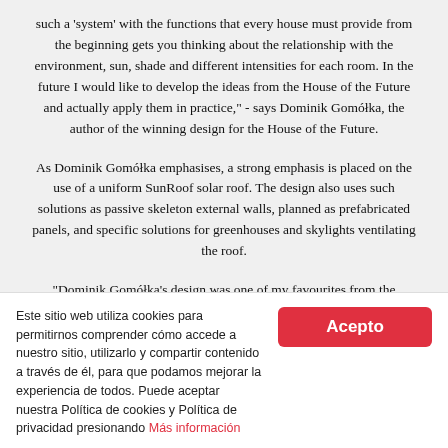such a 'system' with the functions that every house must provide from the beginning gets you thinking about the relationship with the environment, sun, shade and different intensities for each room. In the future I would like to develop the ideas from the House of the Future and actually apply them in practice," - says Dominik Gomółka, the author of the winning design for the House of the Future.
As Dominik Gomółka emphasises, a strong emphasis is placed on the use of a uniform SunRoof solar roof. The design also uses such solutions as passive skeleton external walls, planned as prefabricated panels, and specific solutions for greenhouses and skylights ventilating the roof.
“Dominik Gomółka's design was one of my favourites from the beginning. Preparing a concept of an elegant and modern house
Este sitio web utiliza cookies para permitirnos comprender cómo accede a nuestro sitio, utilizarlo y compartir contenido a través de él, para que podamos mejorar la experiencia de todos. Puede aceptar nuestra Política de cookies y Política de privacidad presionando Más información